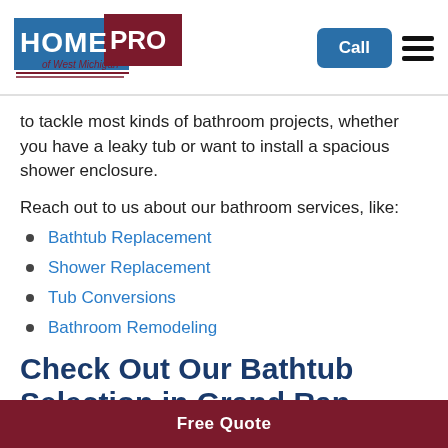[Figure (logo): Home Pro of West Michigan logo — blue and dark red banner shape with white bold text HOME PRO and tagline 'of West Michigan' in red]
to tackle most kinds of bathroom projects, whether you have a leaky tub or want to install a spacious shower enclosure.
Reach out to us about our bathroom services, like:
Bathtub Replacement
Shower Replacement
Tub Conversions
Bathroom Remodeling
Check Out Our Bathtub Selection in Grand Rapids
Free Quote